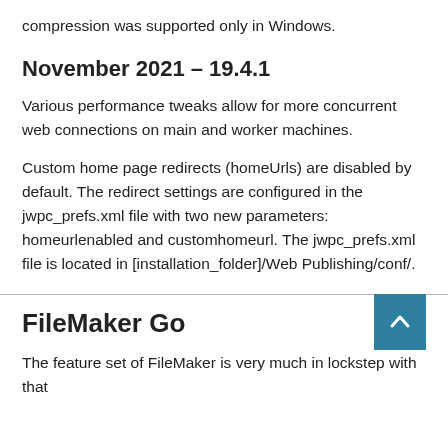compression was supported only in Windows.
November 2021 – 19.4.1
Various performance tweaks allow for more concurrent web connections on main and worker machines.
Custom home page redirects (homeUrls) are disabled by default. The redirect settings are configured in the jwpc_prefs.xml file with two new parameters: homeurlenabled and customhomeurl. The jwpc_prefs.xml file is located in [installation_folder]/Web Publishing/conf/.
FileMaker Go
The feature set of FileMaker is very much in lockstep with that